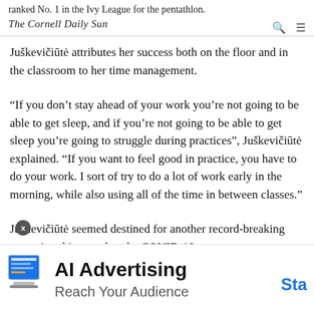ranked No. 1 in the Ivy League for the pentathlon.
The Cornell Daily Sun
Juškevičiūtė attributes her success both on the floor and in the classroom to her time management.
“If you don’t stay ahead of your work you’re not going to be able to get sleep, and if you’re not going to be able to get sleep you’re going to struggle during practices”, Juškevičiūtė explained. “If you want to feel good in practice, you have to do your work. I sort of try to do a lot of work early in the morning, while also using all of the time in between classes.”
Juškevičiūtė seemed destined for another record-breaking campaign this year, but the COVID-19
[Figure (other): Advertisement banner: AI Advertising - Reach Your Audience, with a blue 'Sta' CTA button and a small illustration of a laptop/monitor on the left.]